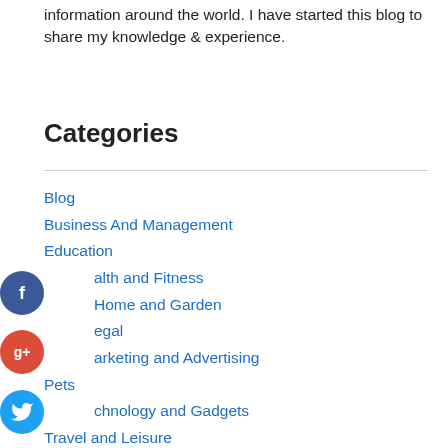information around the world. I have started this blog to share my knowledge & experience.
Categories
Blog
Business And Management
Education
Health and Fitness
Home and Garden
Legal
Marketing and Advertising
Pets
Technology and Gadgets
Travel and Leisure